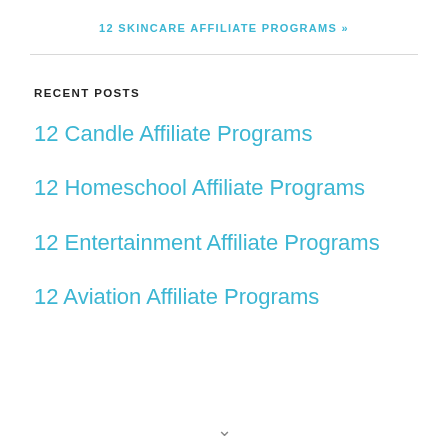12 SKINCARE AFFILIATE PROGRAMS »
RECENT POSTS
12 Candle Affiliate Programs
12 Homeschool Affiliate Programs
12 Entertainment Affiliate Programs
12 Aviation Affiliate Programs